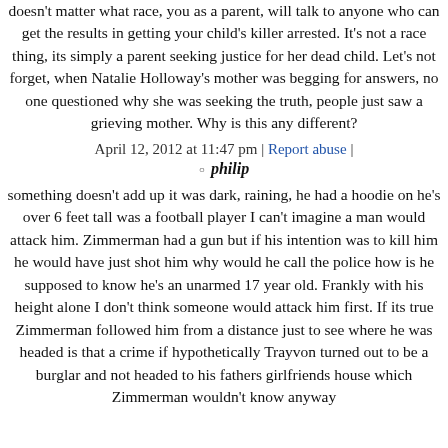doesn't matter what race, you as a parent, will talk to anyone who can get the results in getting your child's killer arrested. It's not a race thing, its simply a parent seeking justice for her dead child. Let's not forget, when Natalie Holloway's mother was begging for answers, no one questioned why she was seeking the truth, people just saw a grieving mother. Why is this any different?
April 12, 2012 at 11:47 pm | Report abuse |
philip
something doesn't add up it was dark, raining, he had a hoodie on he's over 6 feet tall was a football player I can't imagine a man would attack him. Zimmerman had a gun but if his intention was to kill him he would have just shot him why would he call the police how is he supposed to know he's an unarmed 17 year old. Frankly with his height alone I don't think someone would attack him first. If its true Zimmerman followed him from a distance just to see where he was headed is that a crime if hypothetically Trayvon turned out to be a burglar and not headed to his fathers girlfriends house which Zimmerman wouldn't know anyway